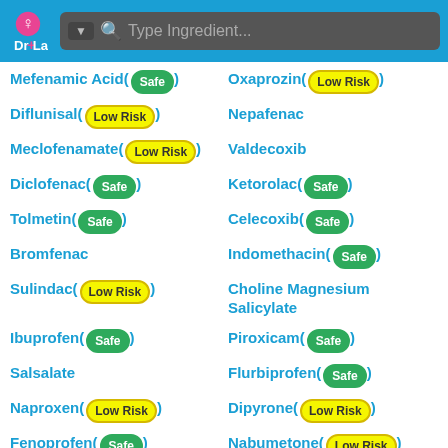Dr+Lact — Type Ingredient search bar
Mefenamic Acid (Safe)
Oxaprozin (Low Risk)
Diflunisal (Low Risk)
Nepafenac
Meclofenamate (Low Risk)
Valdecoxib
Diclofenac (Safe)
Ketorolac (Safe)
Tolmetin (Safe)
Celecoxib (Safe)
Bromfenac
Indomethacin (Safe)
Sulindac (Low Risk)
Choline Magnesium Salicylate
Ibuprofen (Safe)
Piroxicam (Safe)
Salsalate
Flurbiprofen (Safe)
Naproxen (Low Risk)
Dipyrone (Low Risk)
Fenoprofen (Safe)
Nabumetone (Low Risk)
Ketoprofen (Safe)
Meloxicam (Low Risk)
Aspirin (Low Risk)
Etodolac (Low Risk)